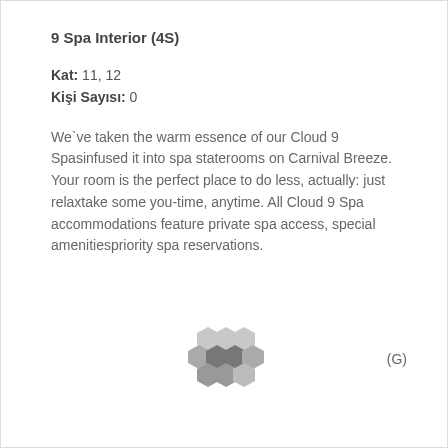9 Spa Interior (4S)
Kat: 11, 12
Kişi Sayısı: 0
We`ve taken the warm essence of our Cloud 9 Spasinfused it into spa staterooms on Carnival Breeze. Your room is the perfect place to do less, actually: just relaxtake some you-time, anytime. All Cloud 9 Spa accommodations feature private spa access, special amenitiespriority spa reservations.
[Figure (logo): Hexagonal honeycomb logo in grey tones]
(G)